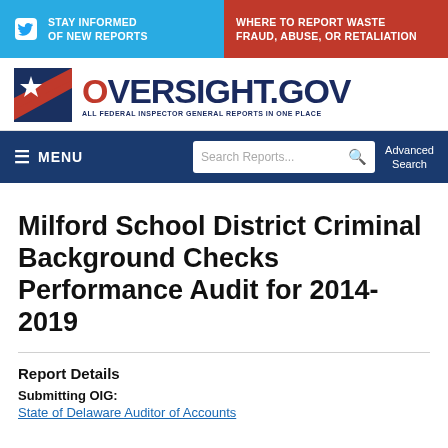STAY INFORMED OF NEW REPORTS
WHERE TO REPORT WASTE FRAUD, ABUSE, OR RETALIATION
[Figure (logo): Oversight.gov logo with star and stripes graphic and text ALL FEDERAL INSPECTOR GENERAL REPORTS IN ONE PLACE]
MENU | Search Reports... | Advanced Search
Milford School District Criminal Background Checks Performance Audit for 2014-2019
Report Details
Submitting OIG:
State of Delaware Auditor of Accounts